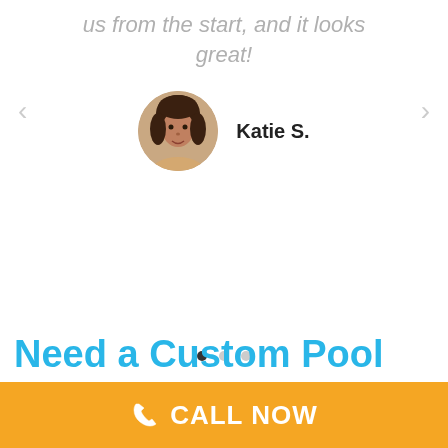us from the start, and it looks great!
[Figure (photo): Circular profile photo of reviewer Katie S., a woman with dark hair]
Katie S.
[Figure (other): Carousel navigation dots: three dots, first filled dark, two light grey]
Need a Custom Pool
CALL NOW